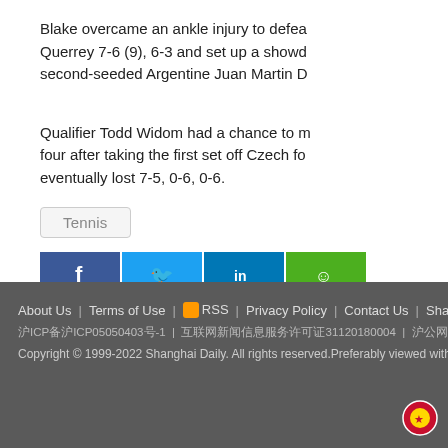Blake overcame an ankle injury to defeat Querrey 7-6 (9), 6-3 and set up a showdown with second-seeded Argentine Juan Martin D...
Qualifier Todd Widom had a chance to make the last four after taking the first set off Czech fo... eventually lost 7-5, 0-6, 0-6.
Tennis
[Figure (other): Social share buttons: Facebook, Twitter, LinkedIn, WeChat]
About Us | Terms of Use | RSS | Privacy Policy | Contact Us | Shanghai Call C... | ICP...ICP05050403...-1 | ...31120180004 | ...0909346 | ...35... | Copyright © 1999-2022 Shanghai Daily. All rights reserved. Preferably viewed with Intern...